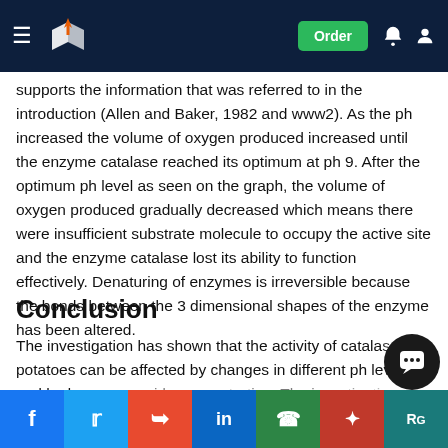Navigation bar with logo, Order button, notification and account icons
supports the information that was referred to in the introduction (Allen and Baker, 1982 and www2). As the ph increased the volume of oxygen produced increased until the enzyme catalase reached its optimum at ph 9. After the optimum ph level as seen on the graph, the volume of oxygen produced gradually decreased which means there were insufficient substrate molecule to occupy the active site and the enzyme catalase lost its ability to function effectively. Denaturing of enzymes is irreversible because the bonds between the 3 dimensional shapes of the enzyme has been altered.
Conclusion
The investigation has shown that the activity of catalase in potatoes can be affected by changes in different ph levels and hydrogen peroxide concentration. The investigation reached its optimum at 50% substrate concentration and